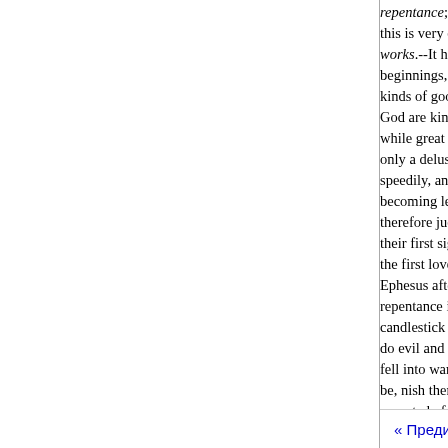repentance; viz. to a fresh exer- this is very displeasing to for the works.--It hence ap- declensions beginnings, in churches ver itself kinds of good degrees, and there God are kindness, and forsaking while great guilt. Unless they rep only a delusion and heated imag speedily, and unexpectedly, in a becoming less strict and It is pro therefore judgment that the first their first sign, that a people are the first love; and they were to sh Ephesus afterwards declined fro repentance in general, if true and candlestick has long been reeffe do evil and churches in Asia first fell into wanting, whatever sorro be, nish them, the Mahometan d repented of. An outward re- tries nations, and the light of tion of th without the former, for hundreds
« Предишна